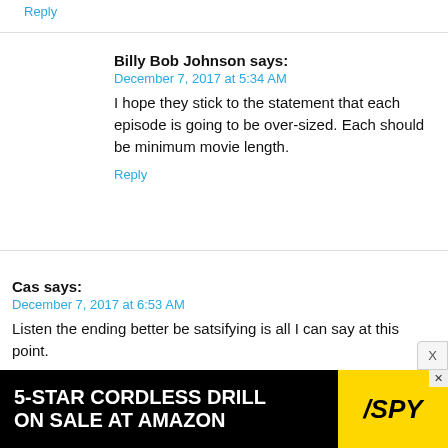Reply
Billy Bob Johnson says:
December 7, 2017 at 5:34 AM
I hope they stick to the statement that each episode is going to be over-sized. Each should be minimum movie length.
Reply
Cas says:
December 7, 2017 at 6:53 AM
Listen the ending better be satsifying is all I can say at this point.
Reply
[Figure (infographic): Advertisement banner: '5-STAR CORDLESS DRILL ON SALE AT AMAZON' with SPY logo on yellow background]